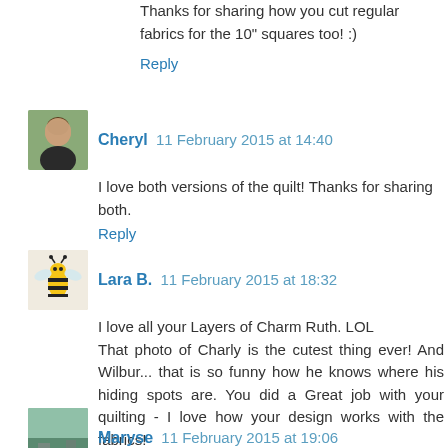Thanks for sharing how you cut regular fabrics for the 10" squares too! :)
Reply
[Figure (photo): Avatar photo of Cheryl - woman with dark hair]
Cheryl 11 February 2015 at 14:40
I love both versions of the quilt! Thanks for sharing both.
Reply
[Figure (illustration): Avatar illustration of a bee]
Lara B. 11 February 2015 at 18:32
I love all your Layers of Charm Ruth. LOL
That photo of Charly is the cutest thing ever! And Wilbur... that is so funny how he knows where his hiding spots are. You did a Great job with your quilting - I love how your design works with the fabrics!
Reply
[Figure (photo): Avatar photo of Maryse - outdoor scene]
Maryse 11 February 2015 at 19:06